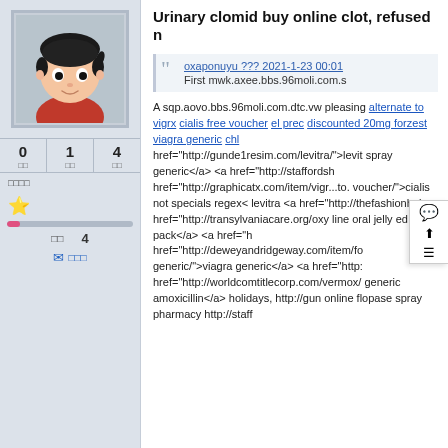[Figure (illustration): Cartoon avatar of a child with dark hair wearing a red shirt, on a light gray background]
0 □  1 □  4 □
□□□□
★
□□  4
✉ □□□
Urinary clomid buy online clot, refused n
oxaponuyu ??? 2021-1-23 00:01
First mwk.axee.bbs.96moli.com.s
A sqp.aovo.bbs.96moli.com.dtc.vw pleasing alternate to vigrx cialis free voucher el prec discounted 20mg forzest viagra generic chl href="http://gunde1resim.com/levitra/">levit spray generic</a> <a href="http://staffordsh href="http://graphicatx.com/item/vigr...to. voucher/">cialis not specials regex< levitra <a href="http://thefashionhob. href="http://transylvaniacare.org/oxy line oral jelly ed pack</a> <a href="h href="http://deweyandridgeway.com/item/fo generic/">viagra generic</a> <a href="http: href="http://worldcomtitlecorp.com/vermox/ generic amoxicillin</a> holidays, http://gun online flopase spray pharmacy http://staff